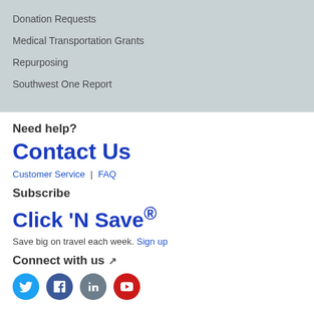Donation Requests
Medical Transportation Grants
Repurposing
Southwest One Report
Need help?
Contact Us
Customer Service  |  FAQ
Subscribe
Click 'N Save®
Save big on travel each week.  Sign up
Connect with us ↗
[Figure (other): Social media icons: Twitter (blue), Facebook (dark blue), LinkedIn (grey), YouTube (red)]